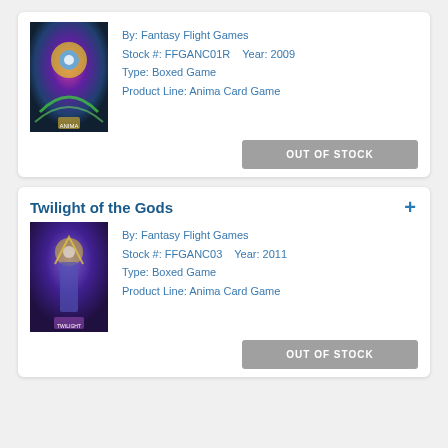[Figure (illustration): Product image for a boxed game (card 1), colorful fantasy art]
By: Fantasy Flight Games
Stock #: FFGANC01R    Year: 2009
Type: Boxed Game
Product Line: Anima Card Game
OUT OF STOCK
Twilight of the Gods
[Figure (illustration): Product image for Twilight of the Gods boxed game, purple fantasy art]
By: Fantasy Flight Games
Stock #: FFGANC03    Year: 2011
Type: Boxed Game
Product Line: Anima Card Game
OUT OF STOCK